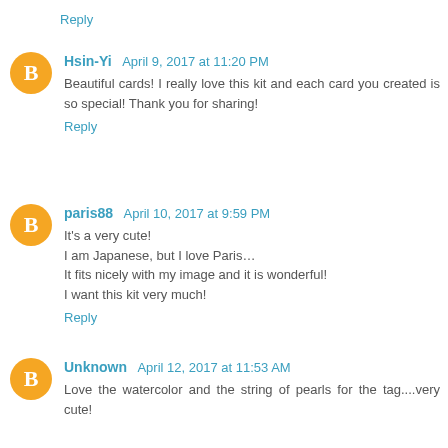Reply
Hsin-Yi  April 9, 2017 at 11:20 PM
Beautiful cards! I really love this kit and each card you created is so special! Thank you for sharing!
Reply
paris88  April 10, 2017 at 9:59 PM
It's a very cute!
I am Japanese, but I love Paris…
It fits nicely with my image and it is wonderful!
I want this kit very much!
Reply
Unknown  April 12, 2017 at 11:53 AM
Love the watercolor and the string of pearls for the tag....very cute!